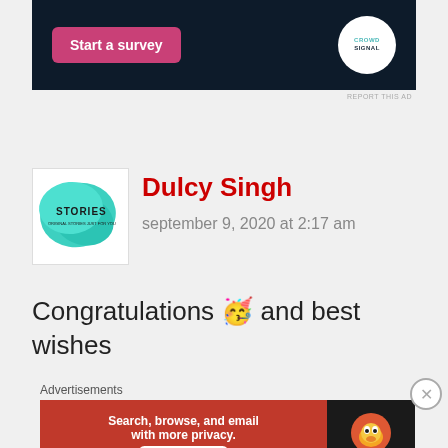[Figure (screenshot): Top advertisement banner with dark navy background. Contains a pink 'Start a survey' button on the left and the CrowdSignal logo (white circle) on the right.]
REPORT THIS AD
[Figure (photo): User avatar for Dulcy Singh: teal painted blob shape with 'STORIES' text over it on a white background.]
Dulcy Singh
september 9, 2020 at 2:17 am
Congratulations 🥳 and best wishes
Advertisements
[Figure (screenshot): DuckDuckGo advertisement. Red background on left with text 'Search, browse, and email with more privacy. All in One Free App'. Dark background on right with DuckDuckGo duck logo.]
REPORT THIS AD